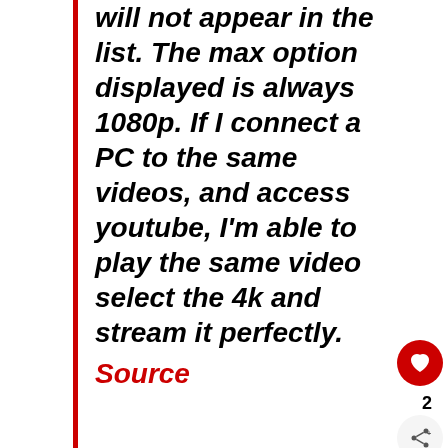will not appear in the list. The max option displayed is always 1080p. If I connect a PC to the same videos, and access youtube, I'm able to play the same video select the 4k and stream it perfectly. Source